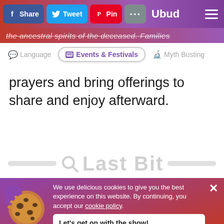f Share  Tweet  Pin  ...  Ubud  ☰
prayers and bring offerings to share and enjoy afterward.
[Figure (screenshot): Category tabs row showing Language, Events & Festivals (selected/highlighted), and Myth Busting tabs]
[Figure (screenshot): Last Bit watermark search bar with gray decorative lines on either side]
We use delicious cookies to give you the best experience on this website. By continuing, you accept our cookie policy. Let's get on with the show! #nomnomnom